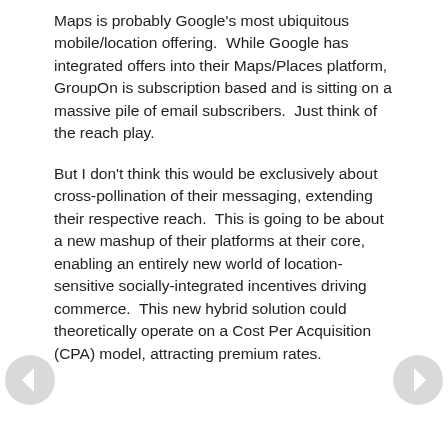Maps is probably Google's most ubiquitous mobile/location offering.  While Google has integrated offers into their Maps/Places platform, GroupOn is subscription based and is sitting on a massive pile of email subscribers.  Just think of the reach play.
But I don't think this would be exclusively about cross-pollination of their messaging, extending their respective reach.  This is going to be about a new mashup of their platforms at their core, enabling an entirely new world of location-sensitive socially-integrated incentives driving commerce.  This new hybrid solution could theoretically operate on a Cost Per Acquisition (CPA) model, attracting premium rates.